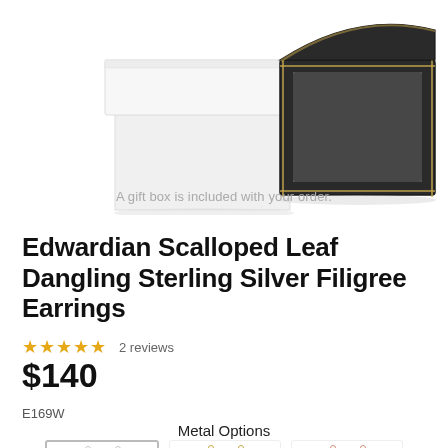[Figure (photo): Two gift boxes: a white box with lid and a black open jewelry box with gold trim and white interior, on a white background.]
A gift box is included with your order.
Edwardian Scalloped Leaf Dangling Sterling Silver Filigree Earrings
★★★★★  2 reviews
$140
E169W
Metal Options
[Figure (photo): Three pairs of dangling filigree earrings shown in different metal options: silver/white gold, yellow gold, and rose gold, partially visible at bottom of page.]